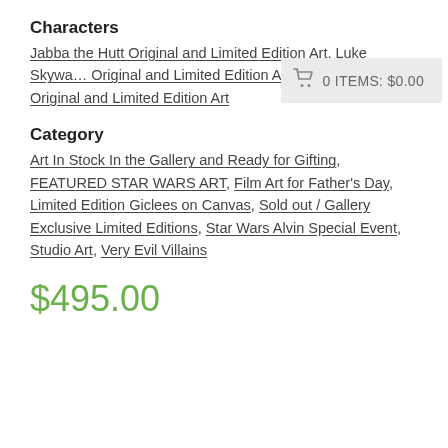Characters
Jabba the Hutt Original and Limited Edition Art, Luke Skywalker Original and Limited Edition Art, Princess Leia Original and Limited Edition Art
[Figure (infographic): Shopping cart icon with text: 0 ITEMS: $0.00 on a light gray background]
Category
Art In Stock In the Gallery and Ready for Gifting, FEATURED STAR WARS ART, Film Art for Father's Day, Limited Edition Giclees on Canvas, Sold out / Gallery Exclusive Limited Editions, Star Wars Alvin Special Event, Studio Art, Very Evil Villains
$495.00